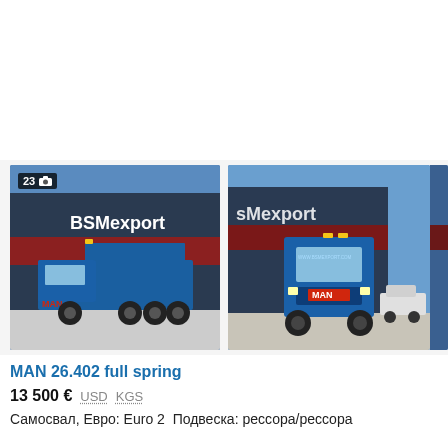[Figure (photo): Photo 1: Side view of a blue MAN 26.402 dump truck (Самосвал) parked in front of a dark blue BSMexport warehouse building. Photo count badge shows 23 with camera icon.]
[Figure (photo): Photo 2: Front view of the same blue MAN dump truck with BSMexport building in background and a white car parked nearby.]
MAN 26.402 full spring
13 500 €  USD  KGS
Самосвал, Евро: Euro 2  Подвеска: рессора/рессора